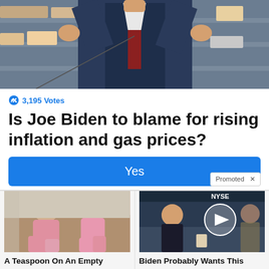[Figure (photo): Cropped photo of a man in a blue suit with arms raised, standing in front of store shelves]
3,195 Votes
Is Joe Biden to blame for rising inflation and gas prices?
Yes
Promoted X
[Figure (photo): Two women in pink clothes sitting on a couch]
A Teaspoon On An Empty Stomach Burns 12 Lbs Of Fat A Week Safely!
13,059
[Figure (photo): Man in dark suit at what appears to be NYSE studio with video play button overlay]
Biden Probably Wants This Video Destroyed — US Dollar On Path Towards Replacement?
175,941